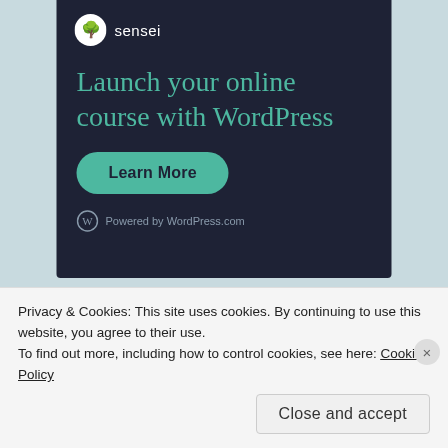[Figure (screenshot): Sensei plugin advertisement banner on dark navy background. Shows Sensei logo (bonsai tree icon) and name, headline 'Launch your online course with WordPress' in teal/green color, a green rounded 'Learn More' button, and 'Powered by WordPress.com' footer text.]
Share this:
Twitter  Facebook  More
Privacy & Cookies: This site uses cookies. By continuing to use this website, you agree to their use.
To find out more, including how to control cookies, see here: Cookie Policy
Close and accept